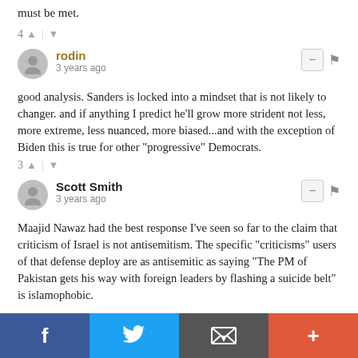must be met.
4 ↑ | ↓
rodin
3 years ago
good analysis. Sanders is locked into a mindset that is not likely to changer. and if anything I predict he'll grow more strident not less, more extreme, less nuanced, more biased...and with the exception of Biden this is true for other "progressive" Democrats.
3 ↑ | ↓
Scott Smith
3 years ago
Maajid Nawaz had the best response I've seen so far to the claim that criticism of Israel is not antisemitism. The specific "criticisms" users of that defense deploy are as antisemitic as saying "The PM of Pakistan gets his way with foreign leaders by flashing a suicide belt" is islamophobic.
f  Twitter  Email  +